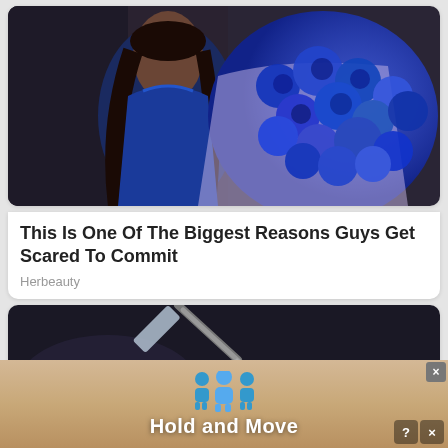[Figure (photo): Woman in blue satin dress holding a large bouquet of blue roses]
This Is One Of The Biggest Reasons Guys Get Scared To Commit
Herbeauty
[Figure (photo): Medical/cosmetic injection procedure close-up showing a needle and gloved hand]
[Figure (infographic): Advertisement banner with blue figure icons and text 'Hold and Move']